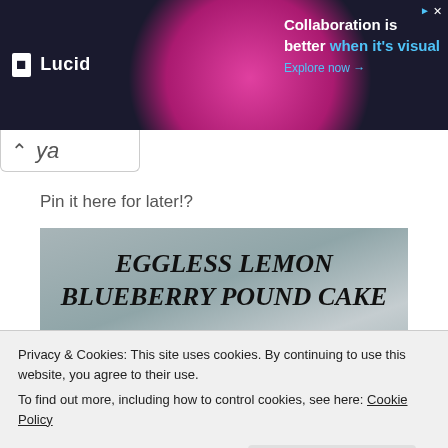[Figure (screenshot): Advertisement banner for Lucid: dark background with person graphic, text 'Collaboration is better when it's visual. Explore now →']
ya
Pin it here for later!?
[Figure (photo): Photo of Eggless Lemon Blueberry Pound Cake with italic bold overlay text 'EGGLESS LEMON BLUEBERRY POUND CAKE' on a grey stone background, with cake visible at bottom]
Privacy & Cookies: This site uses cookies. By continuing to use this website, you agree to their use.
To find out more, including how to control cookies, see here: Cookie Policy
Close and accept